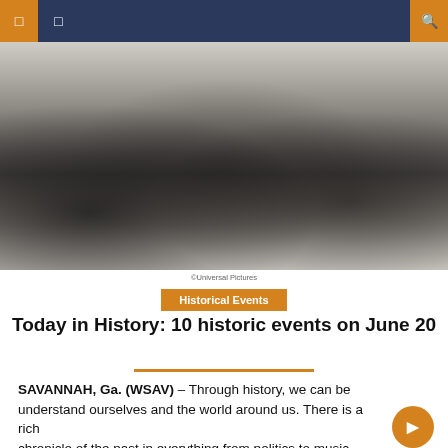☰ ◻ 🔍
[Figure (photo): Black and white photograph of four men standing in water, one holding a film camera on a tripod. They appear to be on a film shoot in the ocean or a body of water.]
©Universal Pictures
Historical Events
Today in History: 10 historic events on June 20
SAVANNAH, Ga. (WSAV) – Through history, we can better understand ourselves and the world around us. There is a rich chronicle of the past in everything from politics to music,